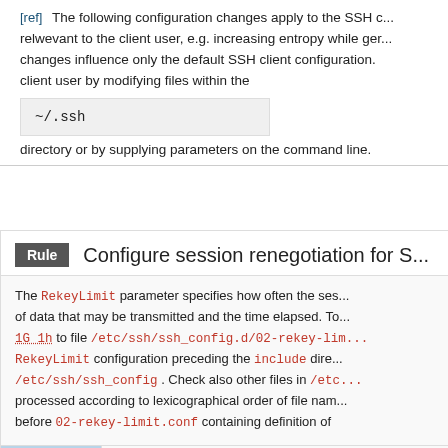[ref] The following configuration changes apply to the SSH c... relwevant to the client user, e.g. increasing entropy while ger... changes influence only the default SSH client configuration. O... client user by modifying files within the
~/.ssh
directory or by supplying parameters on the command line.
Rule  Configure session renegotiation for S...
The RekeyLimit parameter specifies how often the ses... of data that may be transmitted and the time elapsed. To... 1G 1h to file /etc/ssh/ssh_config.d/02-rekey-lim... RekeyLimit configuration preceding the include dire... /etc/ssh/ssh_config . Check also other files in /etc... processed according to lexicographical order of file nam... before 02-rekey-limit.conf containing definition of
Rationale: By decreasing the limit based on th...